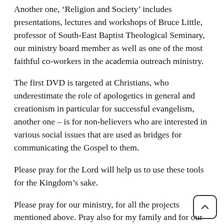Another one, ‘Religion and Society’ includes presentations, lectures and workshops of Bruce Little, professor of South-East Baptist Theological Seminary, our ministry board member as well as one of the most faithful co-workers in the academia outreach ministry.
The first DVD is targeted at Christians, who underestimate the role of apologetics in general and creationism in particular for successful evangelism, another one – is for non-believers who are interested in various social issues that are used as bridges for communicating the Gospel to them.
Please pray for the Lord will help us to use these tools for the Kingdom’s sake.
Please pray for our ministry, for all the projects mentioned above. Pray also for my family and for our team.